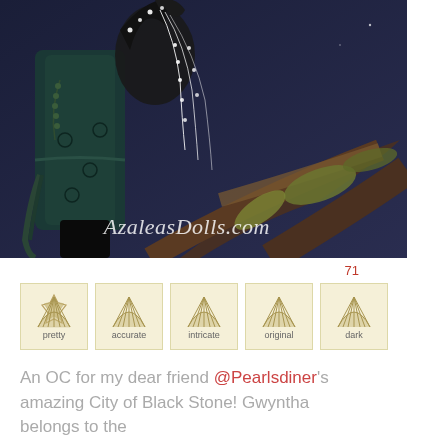[Figure (illustration): Digital illustration of a dark fantasy character (OC named Gwyntha) with black feathered headpiece adorned with white pearl/bead strings, wearing a dark teal/green floral kimono-style garment. The character is posed against a dark blue-purple night sky background with large brown tree branches. The AzaleasDolls.com watermark is displayed at the bottom of the illustration.]
71
[Figure (infographic): Five tan/cream colored badges in a row, each with a fan/shell icon and a label: pretty, accurate, intricate, original, dark]
An OC for my dear friend @Pearlsdiner's amazing City of Black Stone! Gwyntha belongs to the